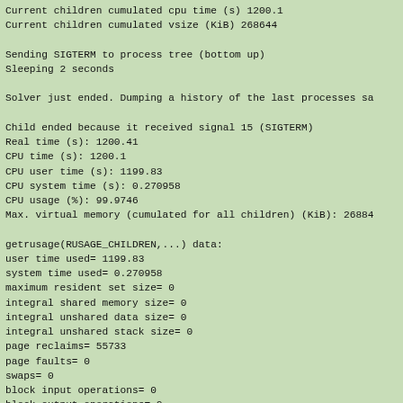Current children cumulated cpu time (s) 1200.1
Current children cumulated vsize (KiB) 268644

Sending SIGTERM to process tree (bottom up)
Sleeping 2 seconds

Solver just ended. Dumping a history of the last processes sa

Child ended because it received signal 15 (SIGTERM)
Real time (s): 1200.41
CPU time (s): 1200.1
CPU user time (s): 1199.83
CPU system time (s): 0.270958
CPU usage (%): 99.9746
Max. virtual memory (cumulated for all children) (KiB): 26884

getrusage(RUSAGE_CHILDREN,...) data:
user time used= 1199.83
system time used= 0.270958
maximum resident set size= 0
integral shared memory size= 0
integral unshared data size= 0
integral unshared stack size= 0
page reclaims= 55733
page faults= 0
swaps= 0
block input operations= 0
block output operations= 0
messages sent= 0
messages received= 0
signals received= 0
voluntary context switches= 2
involuntary context switches= 2736